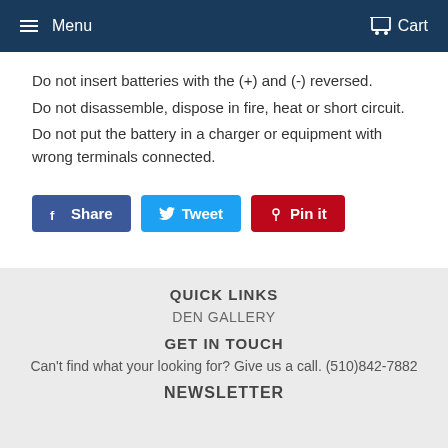Menu  Cart
Do not insert batteries with the (+) and (-) reversed.
Do not disassemble, dispose in fire, heat or short circuit.
Do not put the battery in a charger or equipment with wrong terminals connected.
[Figure (other): Social sharing buttons: Share (Facebook, blue), Tweet (Twitter, light blue), Pin it (Pinterest, red)]
QUICK LINKS
DEN GALLERY
GET IN TOUCH
Can't find what your looking for? Give us a call. (510)842-7882
NEWSLETTER